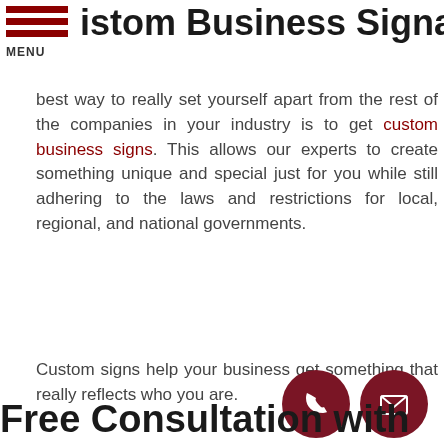MENU
istom Business Signage
best way to really set yourself apart from the rest of the companies in your industry is to get custom business signs. This allows our experts to create something unique and special just for you while still adhering to the laws and restrictions for local, regional, and national governments.
Custom signs help your business get something that really reflects who you are.
[Figure (other): Circular phone icon button (dark red/maroon background, white phone handset)]
[Figure (other): Circular mail/envelope icon button (dark red/maroon background, white envelope)]
Free Consultation with